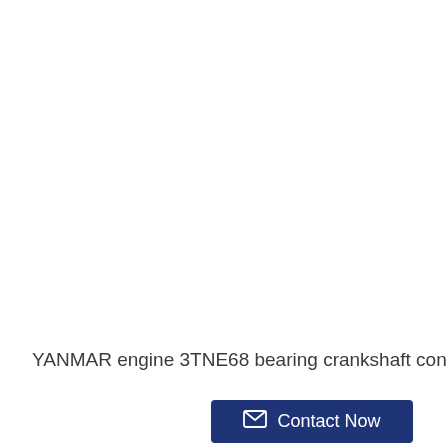YANMAR engine 3TNE68 bearing crankshaft con rod conrod
Contact Now